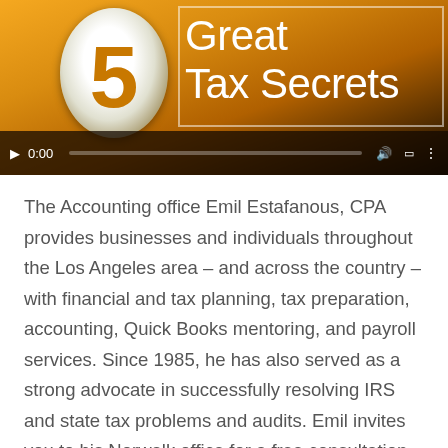[Figure (screenshot): Video thumbnail showing '5 Great Tax Secrets' with an orange gradient background, a large numeral 5 in a white circle, text reading 'Great Tax Secrets', and a video player control bar at the bottom showing 0:00 timestamp.]
The Accounting office Emil Estafanous, CPA provides businesses and individuals throughout the Los Angeles area – and across the country – with financial and tax planning, tax preparation, accounting, Quick Books mentoring, and payroll services. Since 1985, he has also served as a strong advocate in successfully resolving IRS and state tax problems and audits. Emil invites you to his Norwalk office for a free consultation on how he may help you in several key areas.